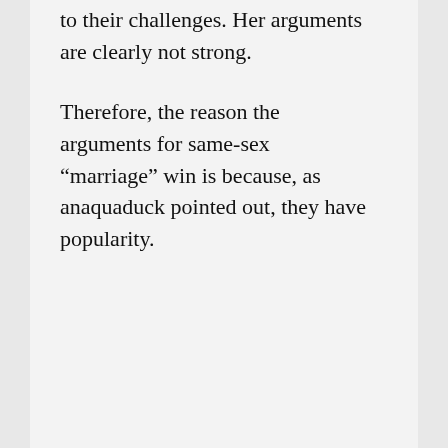to their challenges. Her arguments are clearly not strong.
Therefore, the reason the arguments for same-sex “marriage” win is because, as anaquaduck pointed out, they have popularity.